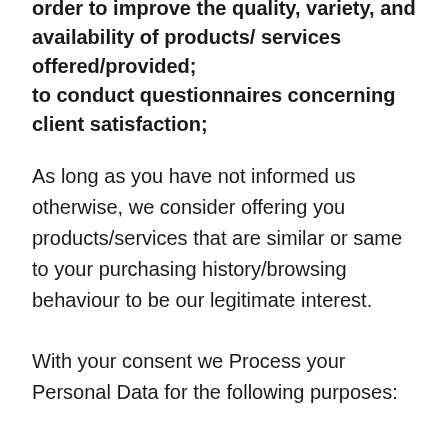order to improve the quality, variety, and availability of products/ services offered/provided; to conduct questionnaires concerning client satisfaction;
As long as you have not informed us otherwise, we consider offering you products/services that are similar or same to your purchasing history/browsing behaviour to be our legitimate interest.
With your consent we Process your Personal Data for the following purposes: